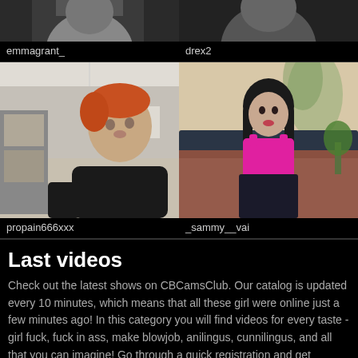[Figure (photo): Partial crop of emmagrant_ stream thumbnail at top]
[Figure (photo): Partial crop of drex2 stream thumbnail at top]
emmagrant_
drex2
[Figure (photo): propain666xxx webcam stream - red-haired man in black hoodie in an office]
[Figure (photo): _sammy__vai webcam stream - woman in pink top sitting on bed]
propain666xxx
_sammy__vai
Last videos
Check out the latest shows on CBCamsClub. Our catalog is updated every 10 minutes, which means that all these girl were online just a few minutes ago! In this category you will find videos for every taste - girl fuck, fuck in ass, make blowjob, anilingus, cunnilingus, and all that you can imagine! Go through a quick registration and get absolutely unlimited access to all the videos on our site!